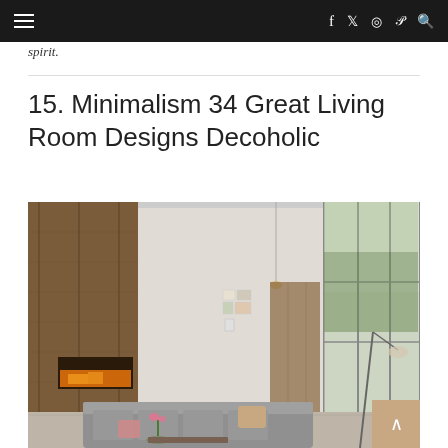≡   f  🐦  📷   Pinterest  🔍
spirit.
15. Minimalism 34 Great Living Room Designs Decoholic
[Figure (photo): Modern minimalist living room with wood-paneled walls, floor-to-ceiling glass windows, a long fireplace, grey sectional sofa, and view of garden outside.]